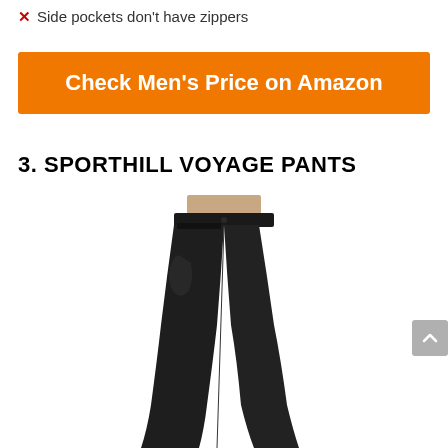✗ Side pockets don't have zippers
[Figure (other): Orange button/banner with white bold text: Check Men's Price on Amazon]
3. SPORTHILL VOYAGE PANTS
[Figure (photo): Product photo of black slim-fit pants (Sporthill Voyage Pants) worn by a person, side/front view showing waistband, side pocket, and tapered leg, on white background.]